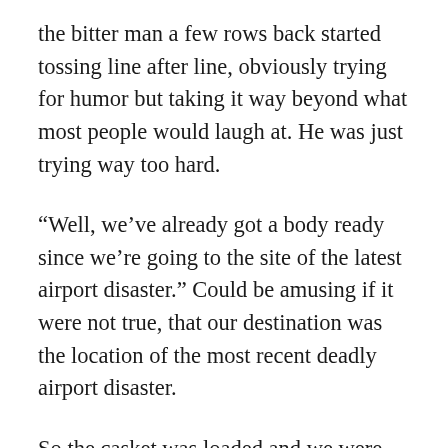the bitter man a few rows back started tossing line after line, obviously trying for humor but taking it way beyond what most people would laugh at. He was just trying way too hard.
“Well, we’ve already got a body ready since we’re going to the site of the latest airport disaster.” Could be amusing if it were not true, that our destination was the location of the most recent deadly airport disaster.
So the casket was loaded and we were ready to go again. As we pushed back from the gate once again, the jokes moved focus to what could possibly happen to make us return to the terminal yet again. Nothing all that funny and most were a stretch to reality, but then again, we had already stepped outside the bounds of our